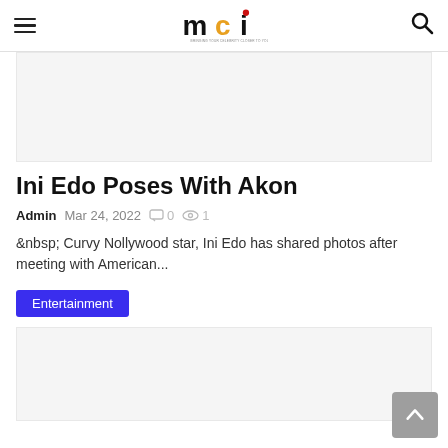MCI — Bringing Your Celebrity Closer To You
[Figure (other): Advertisement banner placeholder, light grey background]
Ini Edo Poses With Akon
Admin  Mar 24, 2022  0  1
&nbsp; Curvy Nollywood star, Ini Edo has shared photos after meeting with American...
Entertainment
[Figure (other): Second advertisement banner placeholder, light grey background]